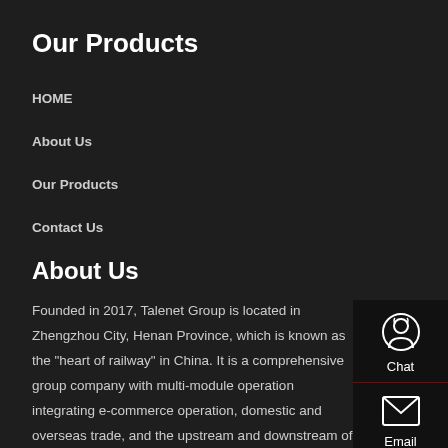Our Products
HOME
About Us
Our Products
Contact Us
About Us
Founded in 2017, Talenet Group is located in Zhengzhou City, Henan Province, which is known as the "heart of railway" in China. It is a comprehensive group company with multi-module operation integrating e-commerce operation, domestic and overseas trade, and the upstream and downstream of product supply chain.
Contact Us
[Figure (infographic): Vertical sidebar with four contact options: Chat (headset icon), Email (envelope icon), Contact (speech bubble icon), Top (upward arrow icon). Dark background with red dividers.]